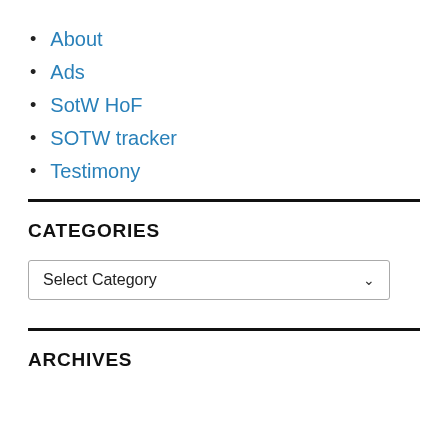About
Ads
SotW HoF
SOTW tracker
Testimony
CATEGORIES
Select Category
ARCHIVES